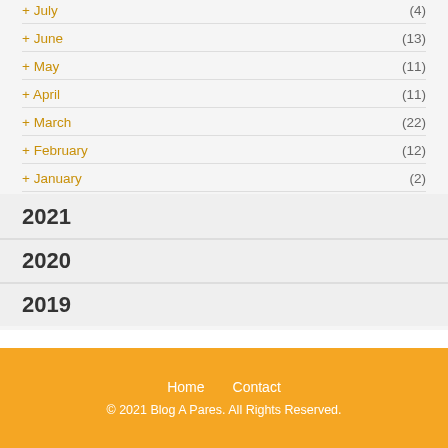+ July (4)
+ June (13)
+ May (11)
+ April (11)
+ March (22)
+ February (12)
+ January (2)
2021
2020
2019
Home  Contact
© 2021 Blog A Pares. All Rights Reserved.